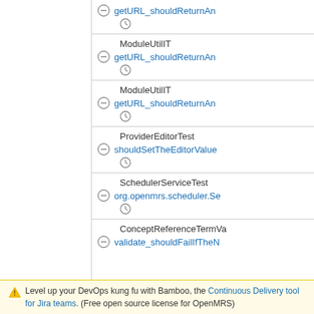getURL_shouldReturnAn... (clock icon)
ModuleUtilIT
getURL_shouldReturnAnI... (clock icon)
ModuleUtilIT
getURL_shouldReturnAnI... (clock icon)
ProviderEditorTest
shouldSetTheEditorValue... (clock icon)
SchedulerServiceTest
org.openmrs.scheduler.Se... (clock icon)
ConceptReferenceTermVa...
validate_shouldFailIfTheN...
Level up your DevOps kung fu with Bamboo, the Continuous Delivery tool for Jira teams. (Free open source license for OpenMRS)